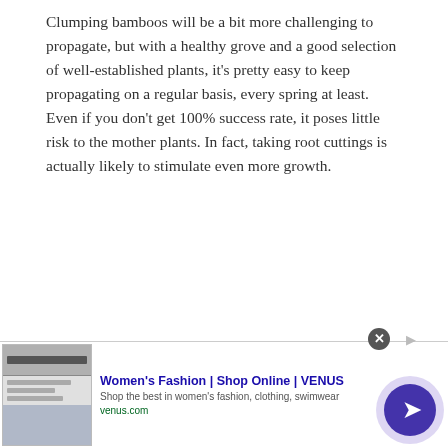Clumping bamboos will be a bit more challenging to propagate, but with a healthy grove and a good selection of well-established plants, it's pretty easy to keep propagating on a regular basis, every spring at least. Even if you don't get 100% success rate, it poses little risk to the mother plants. In fact, taking root cuttings is actually likely to stimulate even more growth.
And ultimately, because clumpers are generally a little harder to propagate, and slower to spread, they tend to fetch a higher price. The
[Figure (screenshot): Advertisement banner for Women's Fashion at VENUS (venus.com) with thumbnail image, bold title 'Women's Fashion | Shop Online | VENUS', subtitle 'Shop the best in women's fashion, clothing, swimwear', URL 'venus.com', close button, and a purple circular CTA button with right arrow.]